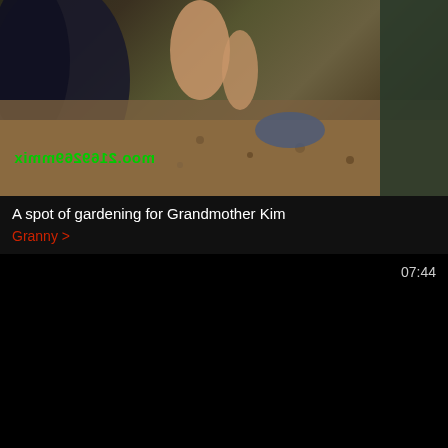[Figure (photo): Outdoor garden scene thumbnail with green watermark text mirrored reading 'kimgrammers.com']
A spot of gardening for Grandmother Kim
Granny >
[Figure (photo): Black video thumbnail with duration 07:44 in top right corner]
Gigantic titted Japanese milf enjoys boobs press and kissing